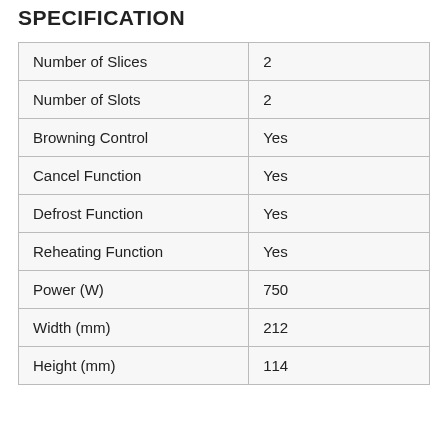SPECIFICATION
| Number of Slices | 2 |
| Number of Slots | 2 |
| Browning Control | Yes |
| Cancel Function | Yes |
| Defrost Function | Yes |
| Reheating Function | Yes |
| Power (W) | 750 |
| Width (mm) | 212 |
| Height (mm) | 114 |